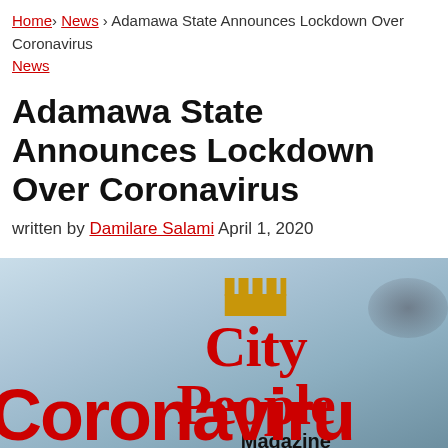Home > News > Adamawa State Announces Lockdown Over Coronavirus
News
Adamawa State Announces Lockdown Over Coronavirus
written by Damilare Salami April 1, 2020
[Figure (photo): City People Magazine logo on a light blue background with partial 'Coronavirus' text at the bottom]